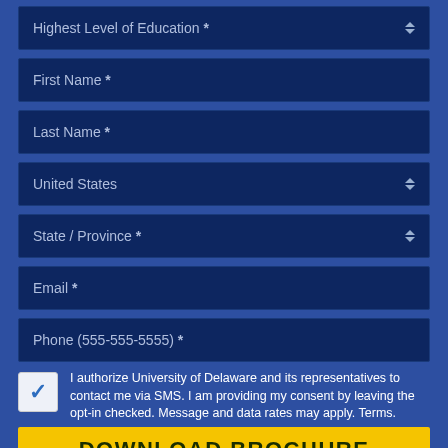Highest Level of Education *
First Name *
Last Name *
United States
State / Province *
Email *
Phone (555-555-5555) *
I authorize University of Delaware and its representatives to contact me via SMS. I am providing my consent by leaving the opt-in checked. Message and data rates may apply. Terms.
DOWNLOAD BROCHURE
By submitting your information you confirm that you...